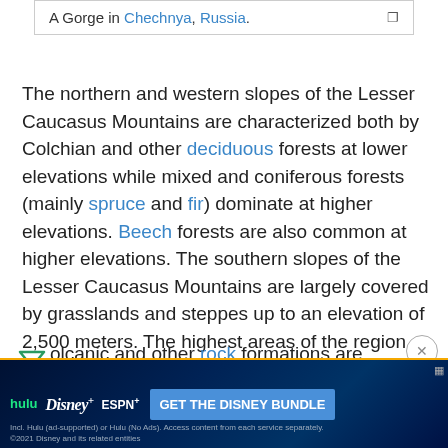A Gorge in Chechnya, Russia.
The northern and western slopes of the Lesser Caucasus Mountains are characterized both by Colchian and other deciduous forests at lower elevations while mixed and coniferous forests (mainly spruce and fir) dominate at higher elevations. Beech forests are also common at higher elevations. The southern slopes of the Lesser Caucasus Mountains are largely covered by grasslands and steppes up to an elevation of 2,500 meters. The highest areas of the region contain alpine grasslands as well.
Volcanic and other rock formations are common throughout the region. The volcanic zone extends over a large area from southern Georgia into Armenia, and southwestern Azerbaijan. The highest peaks of the region are Aragats, Dalidag, and others. The area is characterized by volcanic plateaus
[Figure (other): Advertisement banner for Disney Bundle featuring Hulu, Disney+, and ESPN+ logos with 'GET THE DISNEY BUNDLE' call to action]